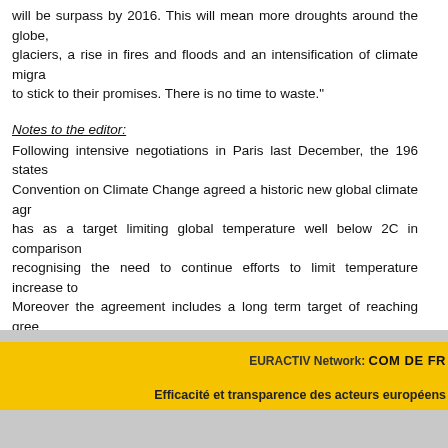will be surpass by 2016. This will mean more droughts around the globe, glaciers, a rise in fires and floods and an intensification of climate migra... to stick to their promises. There is no time to waste."
Notes to the editor:
Following intensive negotiations in Paris last December, the 196 states... Convention on Climate Change agreed a historic new global climate agr... has as a target limiting global temperature well below 2C in comparison... recognising the need to continue efforts to limit temperature increase to... Moreover the agreement includes a long term target of reaching gree... neutrality in the second half of the century as well as a 5-year review me... of states. This review is key in order to allow for an increase of ambition... to keep the world on track for the 2 degrees target (as current commit... global temperature of 2.7 to 3 degrees).
EURACTIV Network: COM DE FR... Efficacité et transparence des acteurs européens